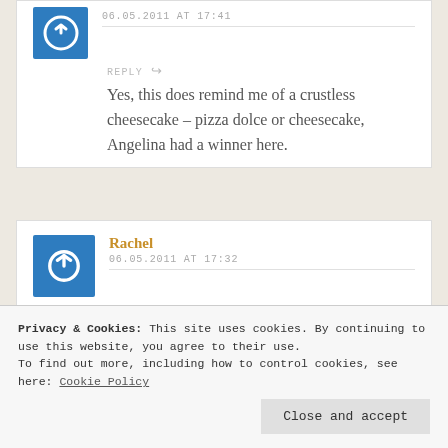06.05.2011 AT 17:41
REPLY
Yes, this does remind me of a crustless cheesecake – pizza dolce or cheesecake, Angelina had a winner here.
Rachel
06.05.2011 AT 17:32
REPLY
I'm bookmarking this
Privacy & Cookies: This site uses cookies. By continuing to use this website, you agree to their use. To find out more, including how to control cookies, see here: Cookie Policy
Close and accept